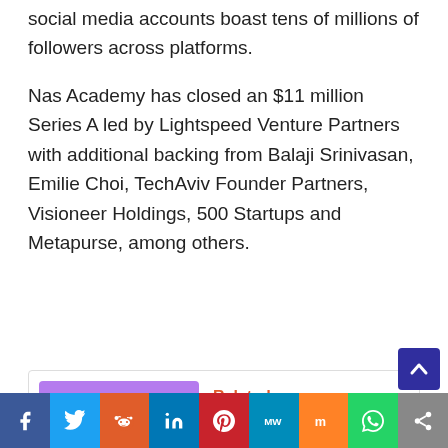social media accounts boast tens of millions of followers across platforms.
Nas Academy has closed an $11 million Series A led by Lightspeed Venture Partners with additional backing from Balaji Srinivasan, Emilie Choi, TechAviv Founder Partners, Visioneer Holdings, 500 Startups and Metapurse, among others.
[Figure (illustration): Related article box with Ocean Streamz APK logo image on purple background and link text 'How To Install Ocean Streamz APK On Android TV & Firestick']
[Figure (infographic): Social sharing bar with icons for Facebook, Twitter, Reddit, LinkedIn, Pinterest, MeWe, Mix, WhatsApp, and Share]